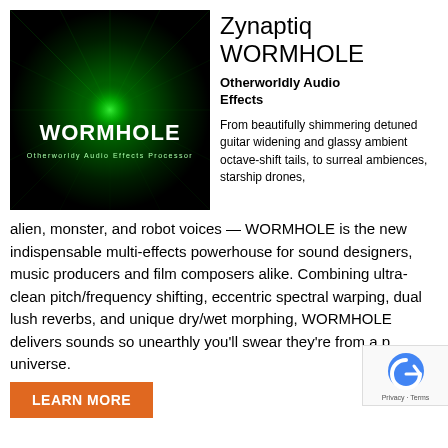[Figure (photo): Product box art for Zynaptiq WORMHOLE showing a dark green glowing wormhole/vortex with text 'WORMHOLE Otherworldy Audio Effects Processor']
Zynaptiq WORMHOLE
Otherworldly Audio Effects
From beautifully shimmering detuned guitar widening and glassy ambient octave-shift tails, to surreal ambiences, starship drones, alien, monster, and robot voices — WORMHOLE is the new indispensable multi-effects powerhouse for sound designers, music producers and film composers alike. Combining ultra-clean pitch/frequency shifting, eccentric spectral warping, dual lush reverbs, and unique dry/wet morphing, WORMHOLE delivers sounds so unearthly you'll swear they're from a parallel universe.
LEARN MORE